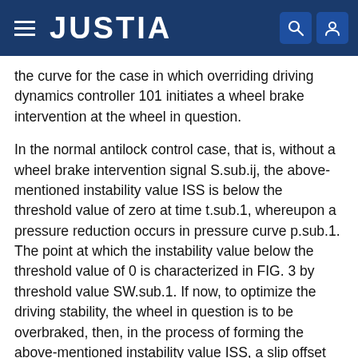JUSTIA
the curve for the case in which overriding driving dynamics controller 101 initiates a wheel brake intervention at the wheel in question.
In the normal antilock control case, that is, without a wheel brake intervention signal S.sub.ij, the above-mentioned instability value ISS is below the threshold value of zero at time t.sub.1, whereupon a pressure reduction occurs in pressure curve p.sub.1. The point at which the instability value below the threshold value of 0 is characterized in FIG. 3 by threshold value SW.sub.1. If now, to optimize the driving stability, the wheel in question is to be overbraked, then, in the process of forming the above-mentioned instability value ISS, a slip offset depending on the vehicle instability or on the intervention signal S.sub.ij is superimposed on the wheel slip .lambda. formed from the wheel velocity and